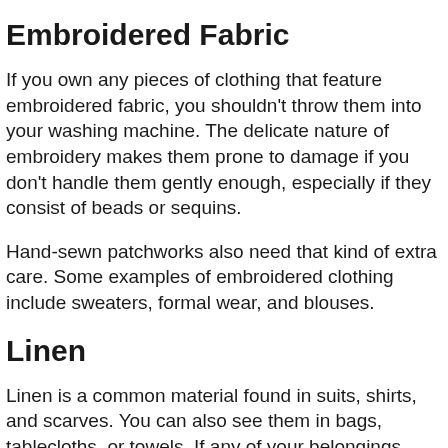Embroidered Fabric
If you own any pieces of clothing that feature embroidered fabric, you shouldn’t throw them into your washing machine. The delicate nature of embroidery makes them prone to damage if you don’t handle them gently enough, especially if they consist of beads or sequins.
Hand-sewn patchworks also need that kind of extra care. Some examples of embroidered clothing include sweaters, formal wear, and blouses.
Linen
Linen is a common material found in suits, shirts, and scarves. You can also see them in bags, tablecloths, or towels. If any of your belongings comprise linen, it’s best to